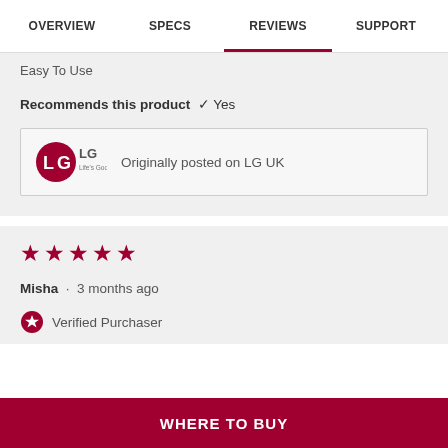OVERVIEW  SPECS  REVIEWS  SUPPORT
Easy To Use
Recommends this product  ✔ Yes
[Figure (logo): LG Life's Good logo with text 'Originally posted on LG UK']
★★★★★
Misha · 3 months ago
Verified Purchaser
WHERE TO BUY